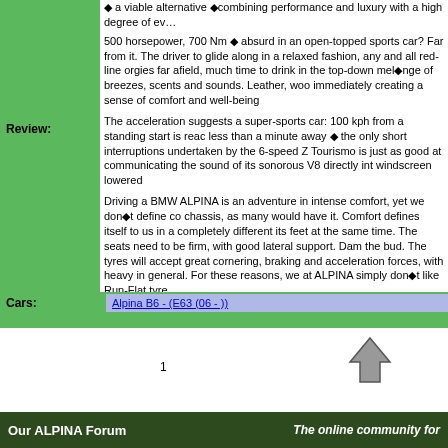a viable alternative combining performance and luxury with a high degree of everyday use
500 horsepower, 700 Nm absurd in an open-topped sports car? Far from it. The driver to glide along in a relaxed fashion, any and all red-line orgies far afield, much time to drink in the top-down melange of breezes, scents and sounds. Leather, wood immediately creating a sense of comfort and well-being
The acceleration suggests a super-sports car: 100 kph from a standing start is reached less than a minute away the only short interruptions undertaken by the 6-speed ZF Tourismo is just as good at communicating the sound of its sonorous V8 directly into the windscreen lowered
Driving a BMW ALPINA is an adventure in intense comfort, yet we don't define comfort chassis, as many would have it. Comfort defines itself to us in a completely different its feet at the same time. The seats need to be firm, with good lateral support. Damping the bud. The tyres will accept great cornering, braking and acceleration forces, without heavy in general. For these reasons, we at ALPINA simply don't like Run-Flat tyres
The staggered tyres, as always from MICHELIN, are generously dimensioned: 255/A large 20 ALPINA DYNAMIC wheels. In spite of the low aspect ratios, a special tyre comfort, this coupled with handling that turns every long drive into a joy ride. For those ALPINA's CLASSIC wheel, there is the optional 19 wheel and tyre package
Light retouching of the Cabrio's front and rear lend a sense of sophistication. Harmonious exhaust pipes are at once elegant and powerful.
We're sure that we've assembled everything in an orderly fashion on the BMW ALPINA driving pleasure and those who enjoy themselves live happily, no?
A bit of patience is in order, those who order now can chase the sun early next Summer
Cars: Alpina B6 - (E63 (06 - ))
1
Our ALPINA Forum    The online community for